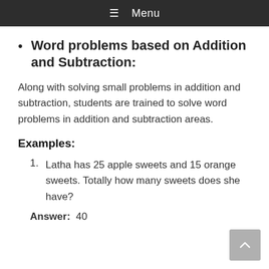☰ Menu
Word problems based on Addition and Subtraction:
Along with solving small problems in addition and subtraction, students are trained to solve word problems in addition and subtraction areas.
Examples:
Latha has 25 apple sweets and 15 orange sweets. Totally how many sweets does she have?
Answer:  40